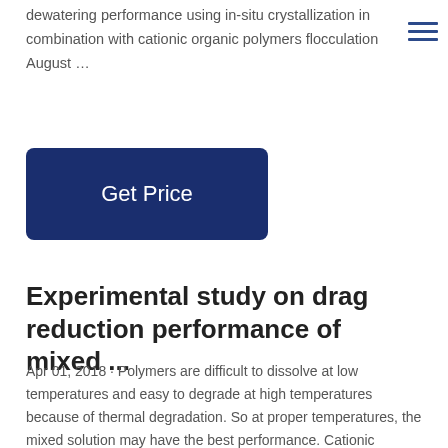dewatering performance using in-situ crystallization in combination with cationic organic polymers flocculation August …
[Figure (other): Hamburger menu icon with three horizontal lines in dark blue]
Get Price
Experimental study on drag reduction performance of mixed ...
Apr 01, 2018 · Polymers are difficult to dissolve at low temperatures and easy to degrade at high temperatures because of thermal degradation. So at proper temperatures, the mixed solution may have the best performance. Cationic surfactants are more generally applicable, so we choose cationic surfactant as the object.